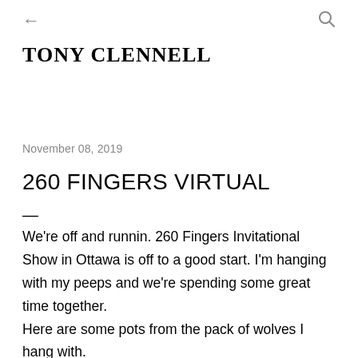← (back arrow)   🔍 (search icon)
TONY CLENNELL
November 08, 2019
260 FINGERS VIRTUAL
We're off and runnin. 260 Fingers Invitational Show in Ottawa is off to a good start. I'm hanging with my peeps and we're spending some great time together.
Here are some pots from the pack of wolves I hang with.
You can visit the show Saturday or Sunday for a virtual shopping tour by sending a DM message via Instagram @260fingers or email: 260talentedfingers@gmail.com. We will arrange a virtual tour of the show and if there is